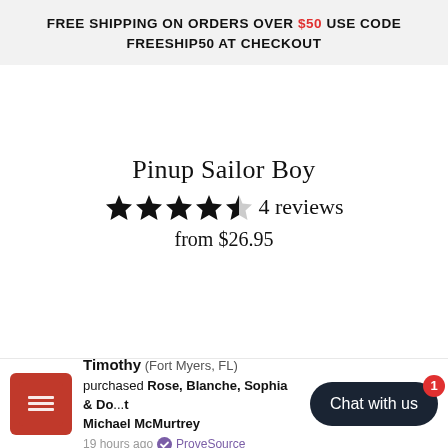FREE SHIPPING ON ORDERS OVER $50 USE CODE FREESHIP50 AT CHECKOUT
Pinup Sailor Boy
★★★★☆ 4 reviews
from $26.95
Timothy (Fort Myers, FL) purchased Rose, Blanche, Sophia & Do... Michael McMurtrey 19 hours ago ✓ ProveSource
Chat with us